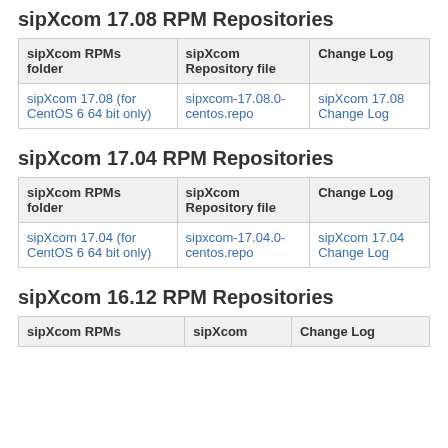sipXcom 17.08 RPM Repositories
| sipXcom RPMs folder | sipXcom Repository file | Change Log |
| --- | --- | --- |
| sipXcom 17.08 (for CentOS 6 64 bit only) | sipxcom-17.08.0-centos.repo | sipXcom 17.08 Change Log |
sipXcom 17.04 RPM Repositories
| sipXcom RPMs folder | sipXcom Repository file | Change Log |
| --- | --- | --- |
| sipXcom 17.04 (for CentOS 6 64 bit only) | sipxcom-17.04.0-centos.repo | sipXcom 17.04 Change Log |
sipXcom 16.12 RPM Repositories
| sipXcom RPMs | sipXcom | Change Log |
| --- | --- | --- |